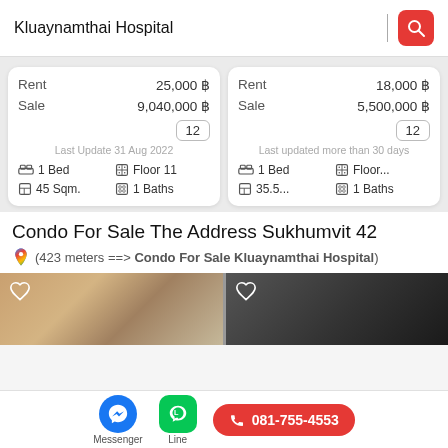Kluaynamthai Hospital
|  | Card 1 | Card 2 |
| --- | --- | --- |
| Rent | 25,000 ฿ | 18,000 ฿ |
| Sale | 9,040,000 ฿ | 5,500,000 ฿ |
| Badge | 12 | 12 |
| Last Update | Last Update 31 Aug 2022 | Last updated more than 30 days |
| Bed | 1 Bed | 1 Bed |
| Floor | Floor 11 | Floor... |
| Size | 45 Sqm. | 35.5... |
| Baths | 1 Baths | 1 Baths |
Condo For Sale The Address Sukhumvit 42
(423 meters ==> Condo For Sale Kluaynamthai Hospital)
[Figure (photo): Two property listing photos side by side]
Messenger | Line | 081-755-4553